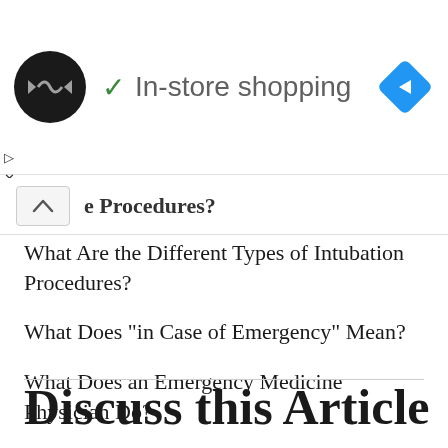[Figure (screenshot): Ad banner showing a logo with infinity/arrow symbol on black circle, checkmark with 'In-store shopping' text, and blue navigation diamond icon]
e Procedures?
What Are the Different Types of Intubation Procedures?
What Does "in Case of Emergency" Mean?
What Does an Emergency Medicine Physician Do?
What Is an Emergency Medicine Expert Witness?
Discuss this Article